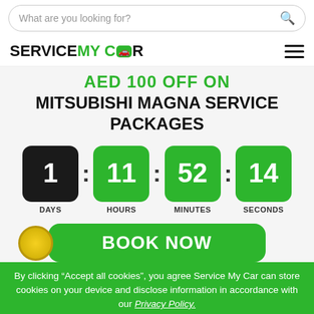[Figure (screenshot): Search bar with placeholder text 'What are you looking for?' and search icon]
[Figure (logo): Service My Car logo with hamburger menu]
AED 100 OFF ON MITSUBISHI MAGNA SERVICE PACKAGES
[Figure (infographic): Countdown timer showing 1 DAYS : 11 HOURS : 52 MINUTES : 14 SECONDS]
[Figure (screenshot): BOOK NOW green button with yellow badge]
By clicking “Accept all cookies”, you agree Service My Car can store cookies on your device and disclose information in accordance with our Privacy Policy.
Accept all cookies